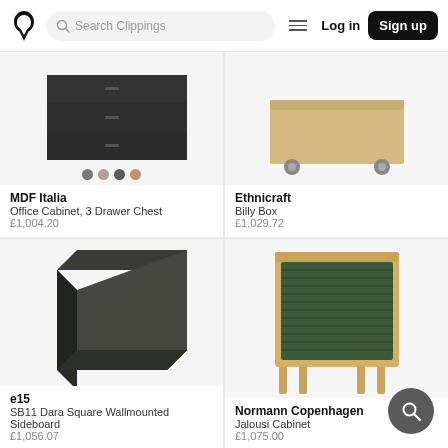Search Clippings | Log in | Sign up
[Figure (photo): MDF Italia Office Cabinet, 3 Drawer Chest - dark grey cabinet bottom view with color swatches]
MDF Italia
Office Cabinet, 3 Drawer Chest
£1,004.20
[Figure (photo): Ethnicraft Billy Box - wooden box on casters, light oak finish]
Ethnicraft
Billy Box
£1,029.72
[Figure (photo): e15 SB11 Dara Square Wallmounted Sideboard - dark charcoal open cube shelf]
e15
SB11 Dara Square Wallmounted Sideboard
£1,056.07
[Figure (photo): Normann Copenhagen Jalousi Cabinet - light oak cabinet with dark green tambour roller door]
Normann Copenhagen
Jalousi Cabinet
£1,075.00